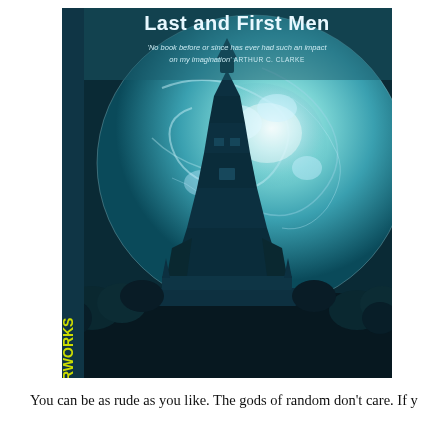[Figure (illustration): Book cover of 'Last and First Men' from the SF Masterworks series. Shows a large glowing teal/blue planet or celestial body with swirling cloud patterns, behind a tall dark tower/monument structure. Foreground has dark trees and landscape. Text on cover: 'Last and First Men', 'No book before or since has ever had such an impact on my imagination' ARTHUR C. CLARKE, and vertically on left spine: 'ASTERWORKS' (part of MASTERWORKS).]
You can be as rude as you like. The gods of random don't care. If y...